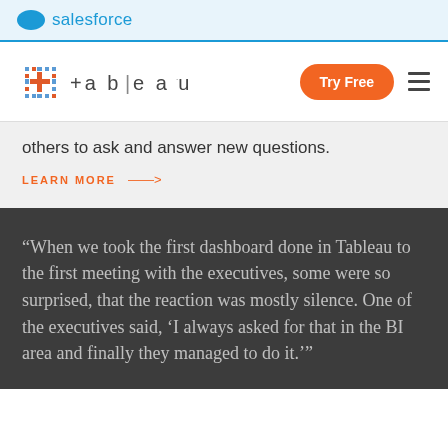salesforce
[Figure (logo): Tableau logo with colored grid icon and text '+a b | e a u']
others to ask and answer new questions.
LEARN MORE →
"When we took the first dashboard done in Tableau to the first meeting with the executives, some were so surprised, that the reaction was mostly silence. One of the executives said, 'I always asked for that in the BI area and finally they managed to do it.'"